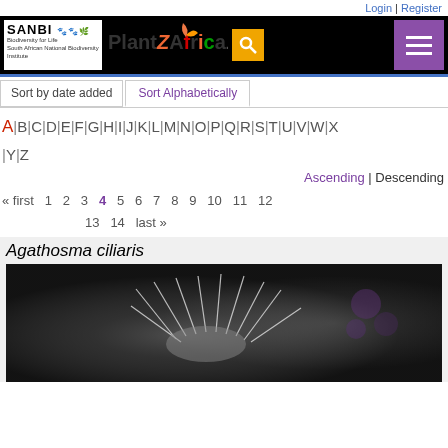Login | Register
[Figure (logo): SANBI logo and PlantZAfrica.com website header with search and menu buttons]
Sort by date added | Sort Alphabetically
A | B | C | D | E | F | G | H | I | J | K | L | M | N | O | P | Q | R | S | T | U | V | W | X | Y | Z
Ascending | Descending
« first  1  2  3  4  5  6  7  8  9  10  11  12  13  14  last »
Agathosma ciliaris
[Figure (photo): Close-up photograph of Agathosma ciliaris flower with white filaments on dark background]